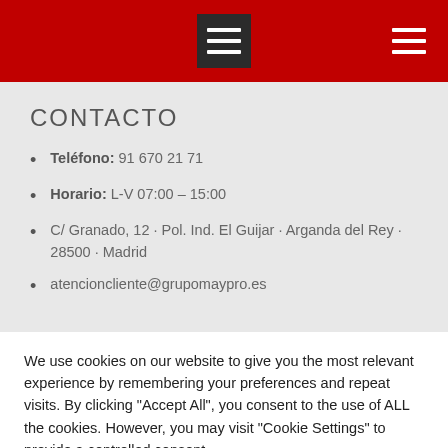[Navigation header with hamburger menu icons]
CONTACTO
Teléfono: 91 670 21 71
Horario: L-V 07:00 – 15:00
C/ Granado, 12 · Pol. Ind. El Guijar · Arganda del Rey · 28500 · Madrid
atencioncliente@grupomaypro.es
We use cookies on our website to give you the most relevant experience by remembering your preferences and repeat visits. By clicking "Accept All", you consent to the use of ALL the cookies. However, you may visit "Cookie Settings" to provide a controlled consent.
Cookie Settings  |  Accept All